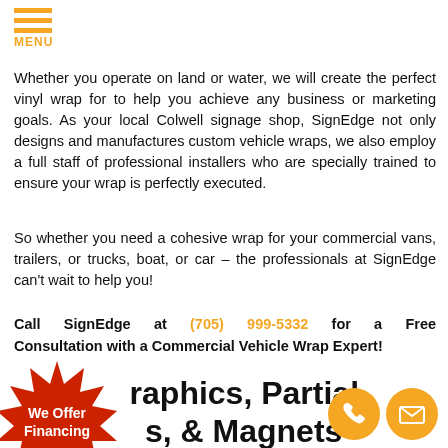MENU
Whether you operate on land or water, we will create the perfect vinyl wrap for to help you achieve any business or marketing goals. As your local Colwell signage shop, SignEdge not only designs and manufactures custom vehicle wraps, we also employ a full staff of professional installers who are specially trained to ensure your wrap is perfectly executed.
So whether you need a cohesive wrap for your commercial vans, trailers, or trucks, boat, or car – the professionals at SignEdge can't wait to help you!
Call SignEdge at (705) 999-5332 for a Free Consultation with a Commercial Vehicle Wrap Expert!
[Figure (illustration): Red starburst badge with text 'We Offer Financing']
Graphics, Partial Wraps, & Magnets
[Figure (illustration): Orange circle phone icon]
[Figure (illustration): Orange circle email icon]